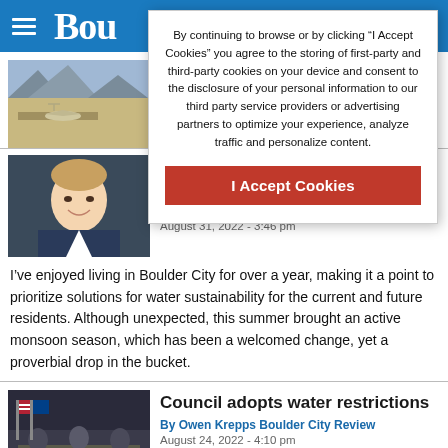Bou (Boulder City Review header)
By continuing to browse or by clicking “I Accept Cookies” you agree to the storing of first-party and third-party cookies on your device and consent to the disclosure of your personal information to our third party service providers or advertising partners to optimize your experience, analyze traffic and personalize content.
I Accept Cookies
Interstate 11 just ou
[Figure (photo): Aerial/landscape photo of an airplane on a desert airfield with mountains in background, partially visible]
[Figure (photo): Headshot of a smiling man in a suit jacket]
crisis
By Taylour Tedder Special to the Boulder City Review
August 31, 2022 - 3:46 pm
I’ve enjoyed living in Boulder City for over a year, making it a point to prioritize solutions for water sustainability for the current and future residents. Although unexpected, this summer brought an active monsoon season, which has been a welcomed change, yet a proverbial drop in the bucket.
[Figure (photo): Photo of people in a government council chamber with American and Nevada flags]
Council adopts water restrictions
By Owen Krepps Boulder City Review
August 24, 2022 - 4:10 pm